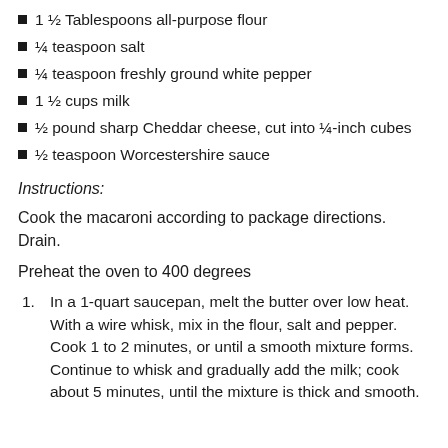1 ½ Tablespoons all-purpose flour
¼ teaspoon salt
¼ teaspoon freshly ground white pepper
1 ½ cups milk
½ pound sharp Cheddar cheese, cut into ¼-inch cubes
½ teaspoon Worcestershire sauce
Instructions:
Cook the macaroni according to package directions. Drain.
Preheat the oven to 400 degrees
In a 1-quart saucepan, melt the butter over low heat. With a wire whisk, mix in the flour, salt and pepper. Cook 1 to 2 minutes, or until a smooth mixture forms. Continue to whisk and gradually add the milk; cook about 5 minutes, until the mixture is thick and smooth.